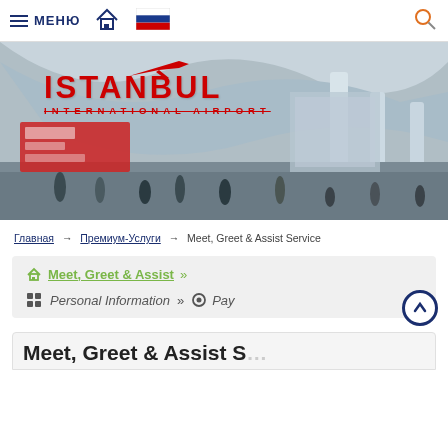МЕНЮ | Home | Russian flag | Search
[Figure (photo): Istanbul International Airport interior with ISTANBUL INTERNATIONAL AIRPORT logo overlaid in red text with a red airplane graphic above it. Airport check-in hall with columns and passengers visible.]
Главная → Премиум-Услуги → Meet, Greet & Assist Service
🏠 Meet, Greet & Assist »
⊞ Personal Information » ⊙ Pay